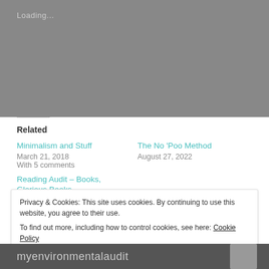Loading...
Related
Minimalism and Stuff
March 21, 2018
With 5 comments
The No 'Poo Method
August 27, 2022
Reading Audit – Books, Glorious Books
April 27, 2021
Privacy & Cookies: This site uses cookies. By continuing to use this website, you agree to their use.
To find out more, including how to control cookies, see here: Cookie Policy
Close and accept
myenvironmentalaudit